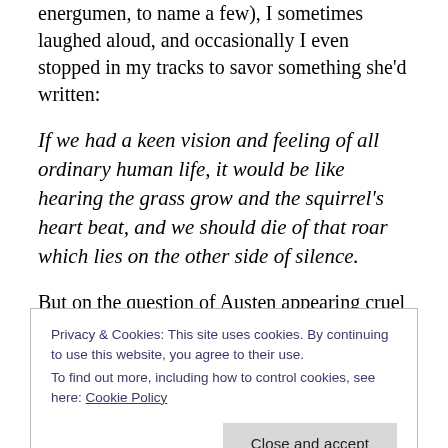energumen, to name a few), I sometimes laughed aloud, and occasionally I even stopped in my tracks to savor something she'd written:
If we had a keen vision and feeling of all ordinary human life, it would be like hearing the grass grow and the squirrel's heart beat, and we should die of that roar which lies on the other side of silence.
But on the question of Austen appearing cruel by contrast to Eliot: I would still never describe my Jane Austen as being cruel.
Privacy & Cookies: This site uses cookies. By continuing to use this website, you agree to their use.
To find out more, including how to control cookies, see here: Cookie Policy
authors were both clever and intelligent, and that the crux